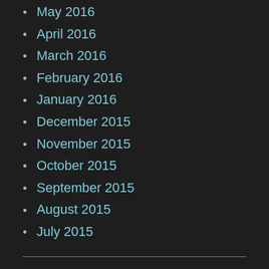May 2016
April 2016
March 2016
February 2016
January 2016
December 2015
November 2015
October 2015
September 2015
August 2015
July 2015
CATEGORIES
2015 Vacation